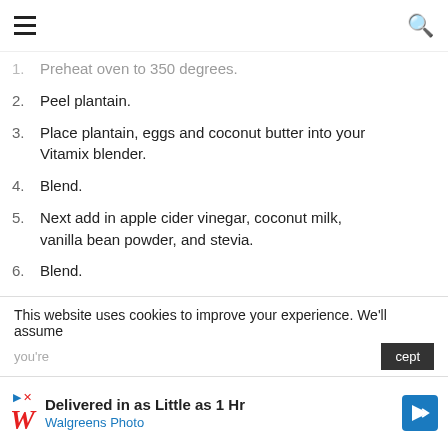1. Preheat oven to 350 degrees.
2. Peel plantain.
3. Place plantain, eggs and coconut butter into your Vitamix blender.
4. Blend.
5. Next add in apple cider vinegar, coconut milk, vanilla bean powder, and stevia.
6. Blend.
7. Grease 6 inch pan or cupcake pan.
8. Pour batter into pan.
9. Bake from 20-30 minutes depending on your oven and
This website uses cookies to improve your experience. We'll assume
you're
cept
[Figure (other): Walgreens Photo advertisement banner: Delivered in as Little as 1 Hr]